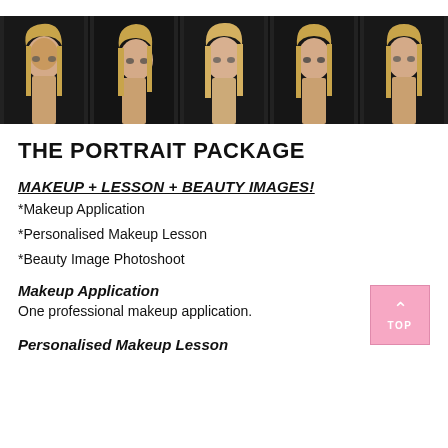[Figure (photo): Strip of five portrait photos of a blonde woman with dark eye makeup against a black background, showing different angles and looks.]
THE PORTRAIT PACKAGE
MAKEUP + LESSON + BEAUTY IMAGES!
*Makeup Application
*Personalised Makeup Lesson
*Beauty Image Photoshoot
Makeup Application
One professional makeup application.
Personalised Makeup Lesson